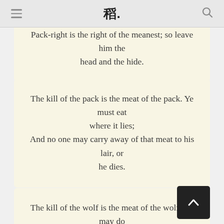≡ [logo] 🔍
Pack-right is the right of the meanest; so leave him the head and the hide.
The kill of the pack is the meat of the pack. Ye must eat where it lies;
And no one may carry away of that meat to his lair, or he dies.
The kill of the wolf is the meat of the wolf. He may do what he will,
But, till he is given permission, the pack may not eat that kill.